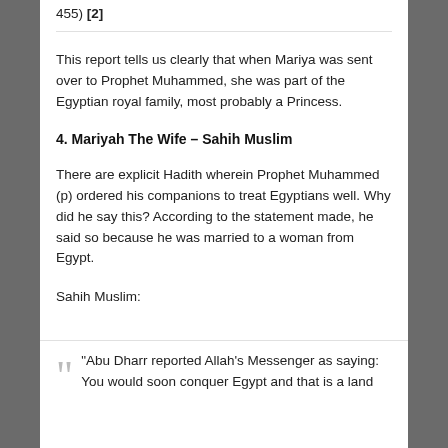455) [2]
This report tells us clearly that when Mariya was sent over to Prophet Muhammed, she was part of the Egyptian royal family, most probably a Princess.
4. Mariyah The Wife – Sahih Muslim
There are explicit Hadith wherein Prophet Muhammed (p) ordered his companions to treat Egyptians well. Why did he say this? According to the statement made, he said so because he was married to a woman from Egypt.
Sahih Muslim:
“Abu Dharr reported Allah’s Messenger as saying: You would soon conquer Egypt and that is a land